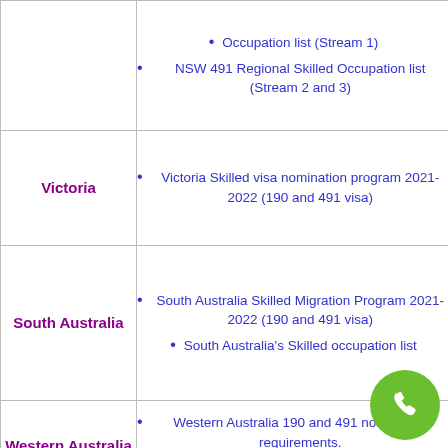| State | Links |
| --- | --- |
| (NSW continued) | Occupation list (Stream 1)
NSW 491 Regional Skilled Occupation list (Stream 2 and 3) |
| Victoria | Victoria Skilled visa nomination program 2021-2022 (190 and 491 visa) |
| South Australia | South Australia Skilled Migration Program 2021-2022 (190 and 491 visa)
South Australia's Skilled occupation list |
| Western Australia | Western Australia 190 and 491 nomination requirements.
Western Australian skilled migration |